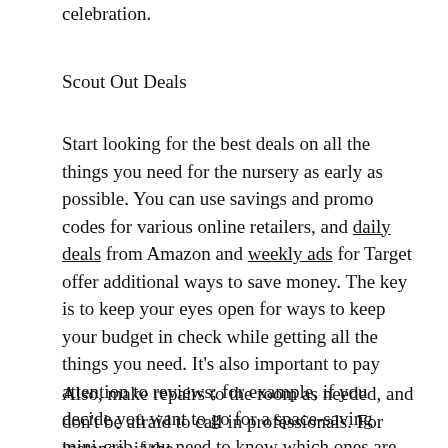celebration.
Scout Out Deals
Start looking for the best deals on all the things you need for the nursery as early as possible. You can use savings and promo codes for various online retailers, and daily deals from Amazon and weekly ads for Target offer additional ways to save money. The key is to keep your eyes open for ways to keep your budget in check while getting all the things you need. It's also important to pay attention to reviews; for example, if you decide you want to go for a space-saving mini-crib, you need to know which ones are perfect for your child and your nursery.
Also, make repairs to the room as needed, and don't be afraid to call in professionals. For instance, if the